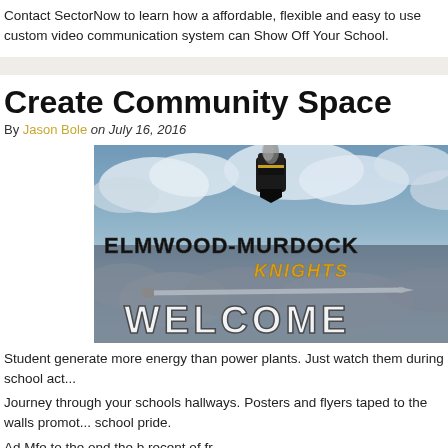Contact SectorNow to learn how a affordable, flexible and easy to use custom video communication system can Show Off Your School.
Create Community Space
By [author] on July 16, 2016
[Figure (photo): Elmwood-Murdock Knights Welcome banner image with cloudy sky background, knight helmet graphic, and WELCOME text]
Student generate more energy than power plants. Just watch them during school act...
Journey through your schools hallways. Posters and flyers taped to the walls promot... school pride.
[additional text truncated]